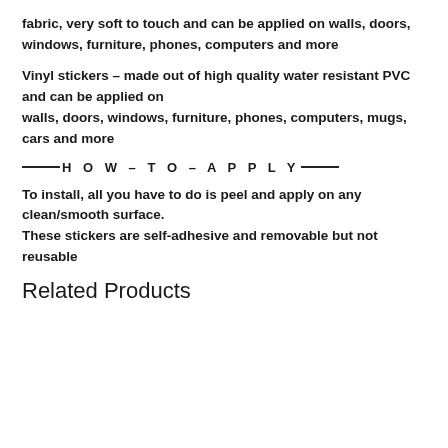fabric, very soft to touch and can be applied on walls, doors, windows, furniture, phones, computers and more
Vinyl stickers – made out of high quality water resistant PVC and can be applied on walls, doors, windows, furniture, phones, computers, mugs, cars and more
——H O W – T O – A P P L Y——
To install, all you have to do is peel and apply on any clean/smooth surface. These stickers are self-adhesive and removable but not reusable
Related Products